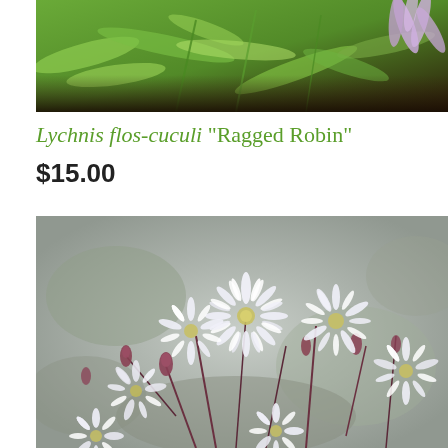[Figure (photo): Close-up photo of garden plants with green foliage and purple/lavender flower petals visible in upper right, with dark soil background.]
Lychnis flos-cuculi "Ragged Robin"
$15.00
[Figure (photo): Close-up photograph of white Lychnis flos-cuculi (Ragged Robin) flowers with deeply fringed petals and reddish-purple buds on thin stems, against a blurred grey-green background.]